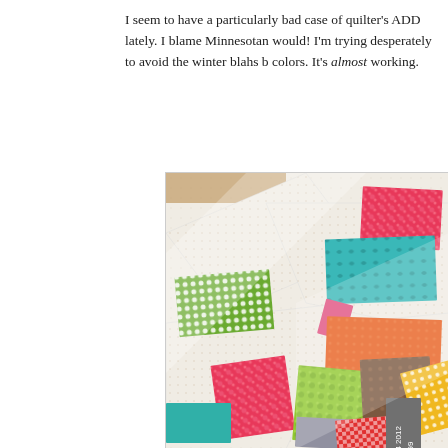I seem to have a particularly bad case of quilter's ADD lately. I blame Minnesotan would! I'm trying desperately to avoid the winter blahs b colors. It's almost working.
[Figure (photo): A close-up photograph of a quilt laid out on a light wood floor. The quilt features a white/cream dotted background fabric with colorful rectangular fabric pieces arranged at various angles. The colored pieces include green polka dot, teal paisley, pink floral, orange dot, hot pink floral, lime green floral, brown animal print, yellow polka dot, teal solid, red gingham, and gray print fabrics. There is also a small price tag or label visible in the lower right corner showing numbers 74202, 199.]